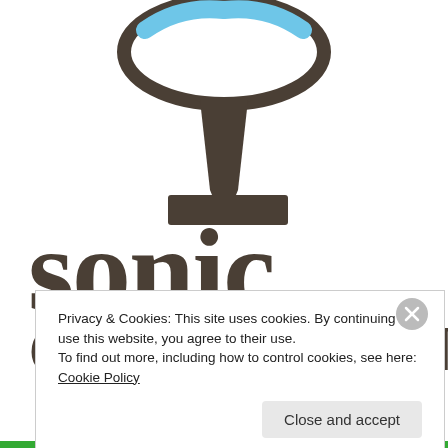[Figure (logo): Sonic Geography logo: a globe with brown stand on white background, with large brown text 'sonic' below and partially visible 'GEOGRAPHY' text beneath]
Privacy & Cookies: This site uses cookies. By continuing to use this website, you agree to their use.
To find out more, including how to control cookies, see here: Cookie Policy
Close and accept